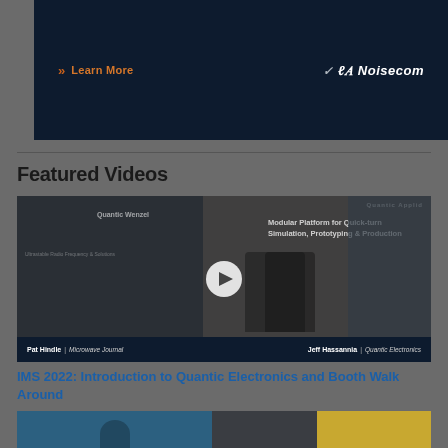[Figure (screenshot): Advertisement banner for Noisecom showing 'Learn More' link and Noisecom logo on dark navy background]
Featured Videos
[Figure (screenshot): Video thumbnail showing two men at IMS 2022 trade show booth for Quantic Electronics. Text overlay: 'Modular Platform for Quick-turn Simulation, Prototyping & Production'. Play button visible in center. Bottom bar shows 'Pat Hindle | Microwave Journal' on left and 'Jeff Hassannia | Quantic Electronics' on right.]
IMS 2022: Introduction to Quantic Electronics and Booth Walk Around
[Figure (screenshot): Partial video thumbnail at bottom of page showing a second featured video]